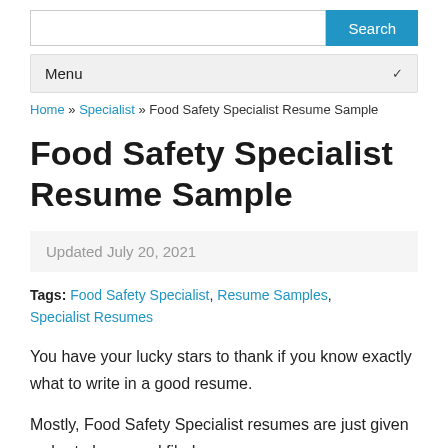Search
Menu
Home » Specialist » Food Safety Specialist Resume Sample
Food Safety Specialist Resume Sample
Updated July 20, 2021
Tags: Food Safety Specialist, Resume Samples, Specialist Resumes
You have your lucky stars to thank if you know exactly what to write in a good resume.
Mostly, Food Safety Specialist resumes are just given a short glance and filed.